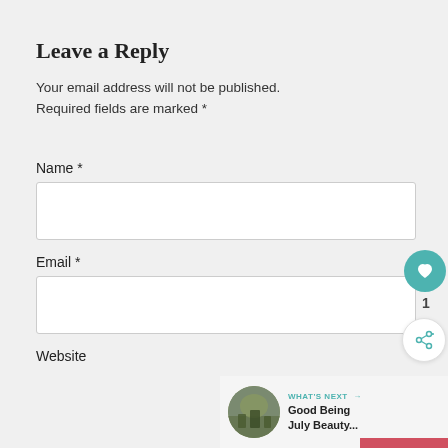Leave a Reply
Your email address will not be published.
Required fields are marked *
Name *
Email *
Website
[Figure (screenshot): Like button (heart icon, teal circle), count '1', share button, and 'WHAT'S NEXT' preview card showing 'Good Being July Beauty...' with a circular photo thumbnail]